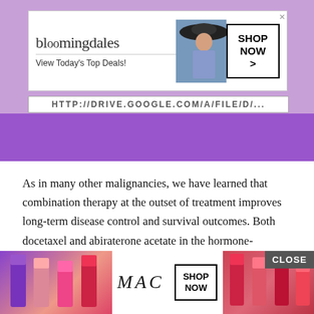[Figure (screenshot): Bloomingdale's advertisement banner with model in hat, 'View Today's Top Deals!' tagline and 'SHOP NOW >' button, overlaid on purple/lavender background with exercise ball]
As in many other malignancies, we have learned that combination therapy at the outset of treatment improves long-term disease control and survival outcomes. Both docetaxel and abiraterone acetate in the hormone-sensitive setting have demonstrated a survival benefit when added to standard ADT . Based on these data, most providers should offer, or at least consider, additional therapies to treat patients at this stage. Cost data for the patient population, one m... ...atient.
[Figure (screenshot): MAC cosmetics advertisement with lipstick products and 'SHOP NOW' button, with CLOSE button overlay]